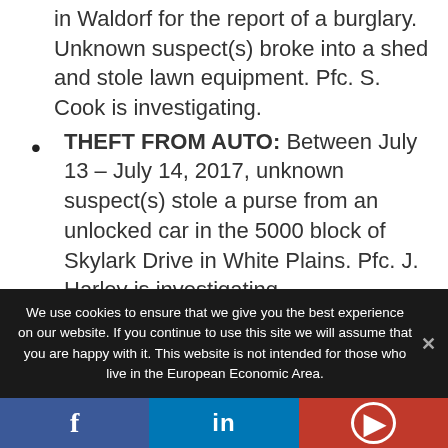in Waldorf for the report of a burglary. Unknown suspect(s) broke into a shed and stole lawn equipment. Pfc. S. Cook is investigating.
THEFT FROM AUTO: Between July 13 – July 14, 2017, unknown suspect(s) stole a purse from an unlocked car in the 5000 block of Skylark Drive in White Plains. Pfc. J. Harley is investigating.
We use cookies to ensure that we give you the best experience on our website. If you continue to use this site we will assume that you are happy with it. This website is not intended for those who live in the European Economic Area.
f  in  P